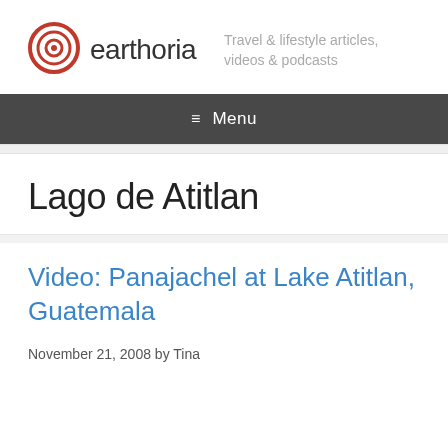earthoria — Travel & lifestyle articles, videos & podcasts
≡ Menu
Lago de Atitlan
Video: Panajachel at Lake Atitlan, Guatemala
November 21, 2008 by Tina